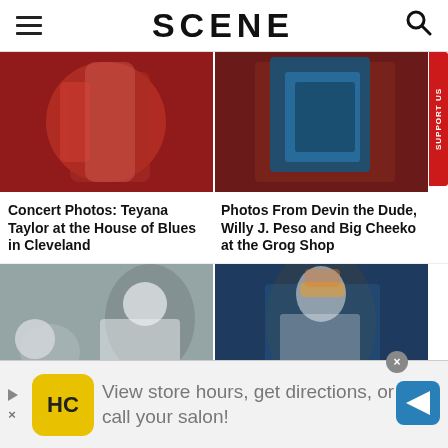SCENE
[Figure (photo): Concert photo: performer in red shiny outfit on stage]
Concert Photos: Teyana Taylor at the House of Blues in Cleveland
[Figure (photo): Concert photo: performer wearing LA Motorama navy t-shirt with chains]
Photos From Devin the Dude, Willy J. Peso and Big Cheeko at the Grog Shop
[Figure (photo): Concert photo: performer in black and white shirt with sunglasses]
[Figure (photo): Concert photo: female performer with colorful braids singing into microphone]
View store hours, get directions, or call your salon!